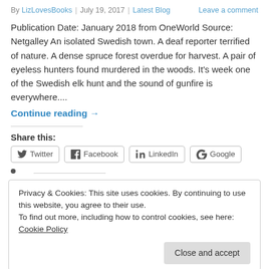By LizLovesBooks | July 19, 2017 | Latest Blog   Leave a comment
Publication Date: January 2018 from OneWorld Source: Netgalley An isolated Swedish town. A deaf reporter terrified of nature. A dense spruce forest overdue for harvest. A pair of eyeless hunters found murdered in the woods. It's week one of the Swedish elk hunt and the sound of gunfire is everywhere....
Continue reading →
Share this:
Twitter
Facebook
LinkedIn
Google
Privacy & Cookies: This site uses cookies. By continuing to use this website, you agree to their use. To find out more, including how to control cookies, see here: Cookie Policy
Close and accept